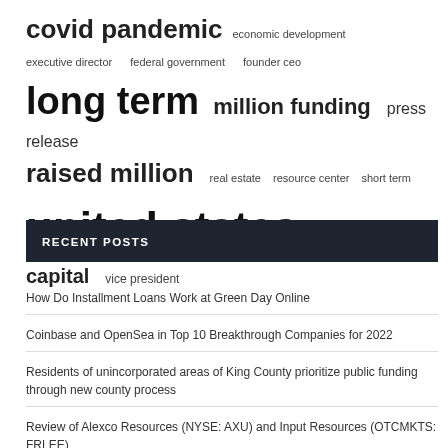[Figure (other): Tag cloud with terms: covid pandemic, economic development, executive director, federal government, founder ceo, long term, million funding, press release, raised million, real estate, resource center, short term, united states, venture capital, vice president — displayed in varying font sizes indicating frequency/importance]
RECENT POSTS
How Do Installment Loans Work at Green Day Online
Coinbase and OpenSea in Top 10 Breakthrough Companies for 2022
Residents of unincorporated areas of King County prioritize public funding through new county process
Review of Alexco Resources (NYSE: AXU) and Input Resources (OTCMKTS: FRLEE)